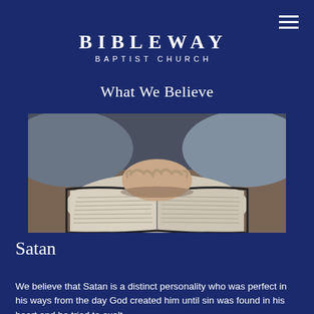BIBLEWAY BAPTIST CHURCH
What We Believe
[Figure (photo): Person with hands clasped together resting on an open Bible on a wooden table, viewed from above]
Satan
We believe that Satan is a distinct personality who was perfect in his ways from the day God created him until sin was found in his heart and he tried to exalt